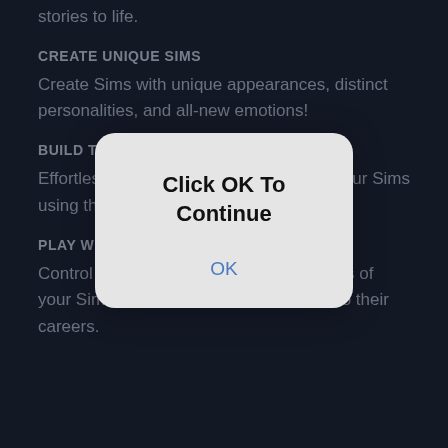stories to life.
CREATE UNIQUE SIMS
Create Sims with unique appearances, distinct personalities, and all-new emotions!
BUILD THE PERFECT HOME
Effortlessly build and design homes for your Sims using the new tool-based Build Mode.
PLAY WITH LIFE
Control the rich and entertaining moments of your Sims' lives from their relationships to their careers.
[Figure (screenshot): A modal dialog box with rounded corners on a light grey background, displaying 'Click OK To Continue' as bold title text and a blue 'OK' link button below it, overlaid on the dark app content.]